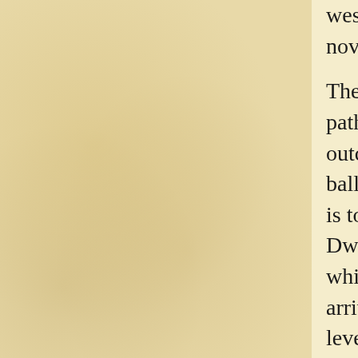west, and to the north, behind a stone bench, is a novice-locked Dwarven chest.

There are two hidden spinning blades on the stone path leading to the Falmer camp, marked by stone outcroppings in the ground. The Falmer that the ballista pointed at is to the left, and another Falmer is to the right, above the fungus 'farm'. Two Dwarven spheres can be activated in this area, which the Falmer may accidentally do before you arrive. The two scuttles are on either side of the top level, in the farm section. There is also a Falmer pen to the west containing two skeevers beside the tunnel to the next area.

In the 'farm' area to the north and northwest there are numerous harvestable fungal growths: five bleeding crown, four blisterwort, two fly amanita, two imp stool, four Namira's rot, and three white cap fungi. Also on the top level is an adept-locked Dwarven chest, hidden in the rubble to the right from the top of the stairs. Behind the lower-level tent to the southwest is an imp stool, while another